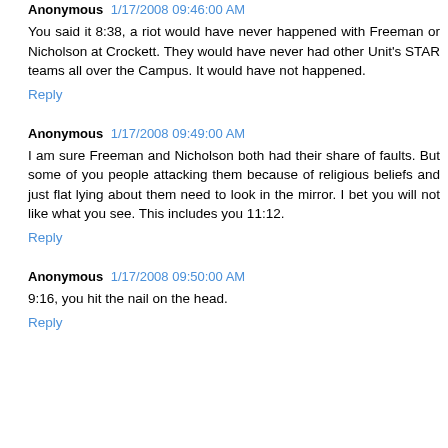Anonymous 1/17/2008 09:46:00 AM
You said it 8:38, a riot would have never happened with Freeman or Nicholson at Crockett. They would have never had other Unit's STAR teams all over the Campus. It would have not happened.
Reply
Anonymous 1/17/2008 09:49:00 AM
I am sure Freeman and Nicholson both had their share of faults. But some of you people attacking them because of religious beliefs and just flat lying about them need to look in the mirror. I bet you will not like what you see. This includes you 11:12.
Reply
Anonymous 1/17/2008 09:50:00 AM
9:16, you hit the nail on the head.
Reply